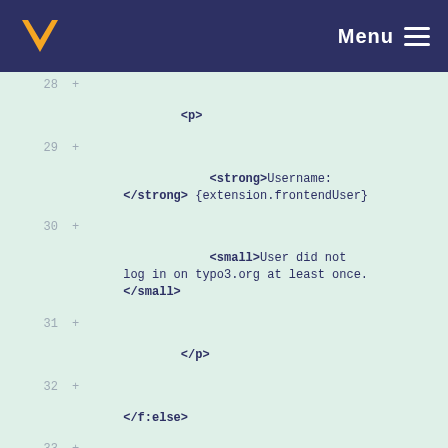Menu
[Figure (screenshot): Code diff viewer showing HTML template lines 28-33 with tags <p>, <strong>, <small>, </p>, </f:else>, </f:if> on a light green background]